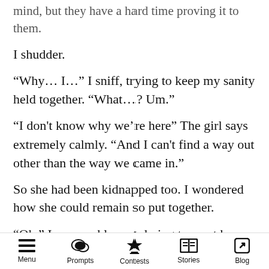mind, but they have a hard time proving it to them.
I shudder.
“Why… I…” I sniff, trying to keep my sanity held together. “What…? Um.”
“I don't know why we’re here” The girl says extremely calmly. “And I can't find a way out other than the way we came in.”
So she had been kidnapped too. I wondered how she could remain so put together.
“Oh.” I say weakly, not daring to meet her eyes again.
She was so intense.
“I’m Cherry.” the girl says suddenly. “I know, I
Menu  Prompts  Contests  Stories  Blog